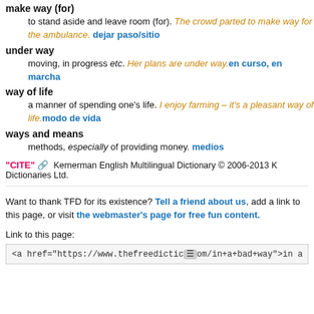make way (for)
to stand aside and leave room (for). The crowd parted to make way for the ambulance. dejar paso/sitio
under way
moving, in progress etc. Her plans are under way. en curso, en marcha
way of life
a manner of spending one's life. I enjoy farming – it's a pleasant way of life. modo de vida
ways and means
methods, especially of providing money. medios
"CITE" [link icon] Kernerman English Multilingual Dictionary © 2006-2013 K Dictionaries Ltd.
Want to thank TFD for its existence? Tell a friend about us, add a link to this page, or visit the webmaster's page for free fun content.
Link to this page:
<a href="https://www.thefreedictic...om/in+a+bad+way">in a bad way